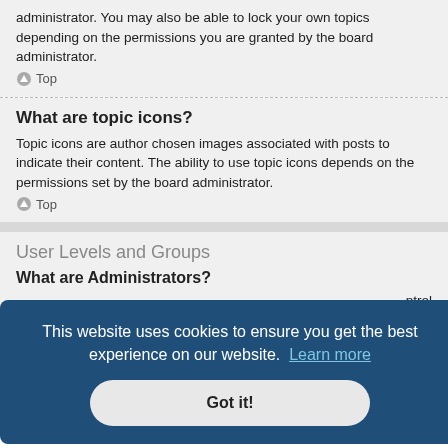administrator. You may also be able to lock your own topics depending on the permissions you are granted by the board administrator.
Top
What are topic icons?
Topic icons are author chosen images associated with posts to indicate their content. The ability to use topic icons depends on the permissions set by the board administrator.
Top
User Levels and Groups
What are Administrators?
ntrol oard er and hey may he
Top
This website uses cookies to ensure you get the best experience on our website.  Learn more
Got it!